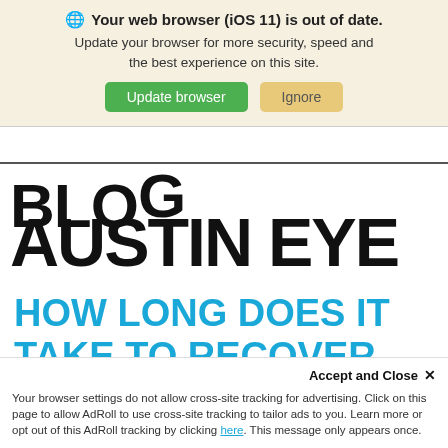Your web browser (iOS 11) is out of date. Update your browser for more security, speed and the best experience on this site.
Update browser   Ignore
BLOG
AUSTIN EYE
HOW LONG DOES IT TAKE TO RECOVER FROM LASIK?
Posted on June 29, 2018 by Shannon Wong -
Accept and Close ✕  Your browser settings do not allow cross-site tracking for advertising. Click on this page to allow AdRoll to use cross-site tracking to tailor ads to you. Learn more or opt out of this AdRoll tracking by clicking here. This message only appears once.